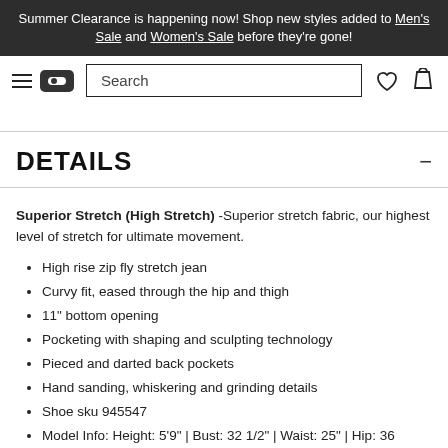Summer Clearance is happening now! Shop new styles added to Men's Sale and Women's Sale before they're gone!
Search
DETAILS
Superior Stretch (High Stretch) -Superior stretch fabric, our highest level of stretch for ultimate movement.
High rise zip fly stretch jean
Curvy fit, eased through the hip and thigh
11" bottom opening
Pocketing with shaping and sculpting technology
Pieced and darted back pockets
Hand sanding, whiskering and grinding details
Shoe sku 945547
Model Info: Height: 5'9" | Bust: 32 1/2" | Waist: 25" | Hip: 36